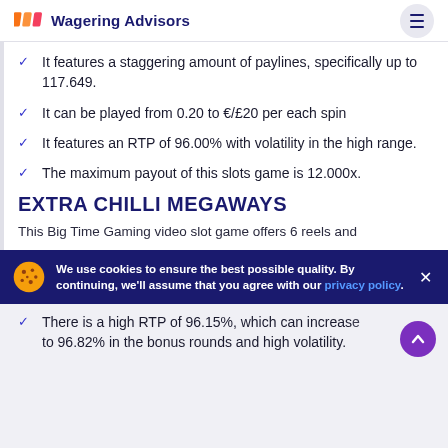Wagering Advisors
It features a staggering amount of paylines, specifically up to 117.649.
It can be played from 0.20 to €/£20 per each spin
It features an RTP of 96.00% with volatility in the high range.
The maximum payout of this slots game is 12.000x.
EXTRA CHILLI MEGAWAYS
This Big Time Gaming video slot game offers 6 reels and
We use cookies to ensure the best possible quality. By continuing, we'll assume that you agree with our privacy policy.
There is a high RTP of 96.15%, which can increase to 96.82% in the bonus rounds and high volatility.